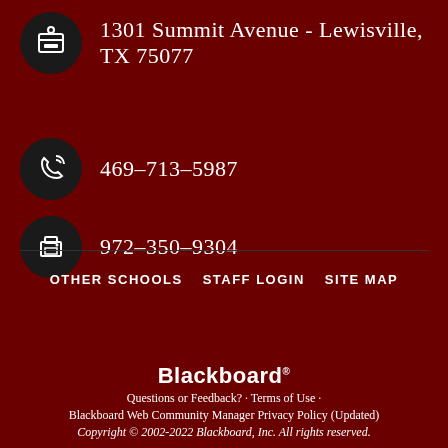1301 Summit Avenue - Lewisville, TX 75077
469-713-5987
972-350-9304
OTHER SCHOOLS
STAFF LOGIN
SITE MAP
Blackboard
Questions or Feedback? • Terms of Use •
Blackboard Web Community Manager Privacy Policy (Updated)
Copyright © 2002-2022 Blackboard, Inc. All rights reserved.